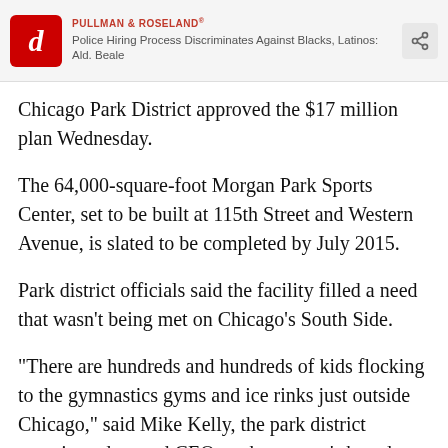PULLMAN & ROSELAND | Police Hiring Process Discriminates Against Blacks, Latinos: Ald. Beale
Chicago Park District approved the $17 million plan Wednesday.
The 64,000-square-foot Morgan Park Sports Center, set to be built at 115th Street and Western Avenue, is slated to be completed by July 2015.
Park district officials said the facility filled a need that wasn't being met on Chicago's South Side.
"There are hundreds and hundreds of kids flocking to the gymnastics gyms and ice rinks just outside Chicago," said Mike Kelly, the park district superintendent and CEO, at the agency's board meeting. "We're gonna start getting the city residents back into the city."